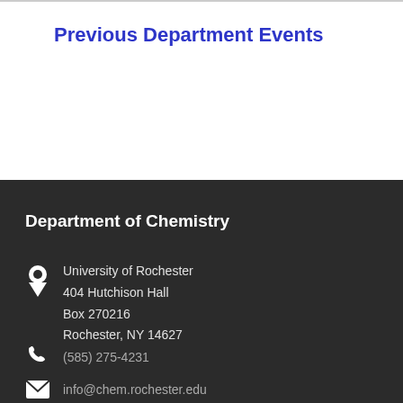Previous Department Events
Department of Chemistry
University of Rochester
404 Hutchison Hall
Box 270216
Rochester, NY 14627
(585) 275-4231
info@chem.rochester.edu